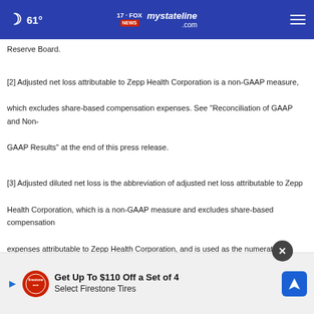61° mystateline.com NEWS
Reserve Board.
[2] Adjusted net loss attributable to Zepp Health Corporation is a non-GAAP measure, which excludes share-based compensation expenses. See "Reconciliation of GAAP and Non-GAAP Results" at the end of this press release.
[3] Adjusted diluted net loss is the abbreviation of adjusted net loss attributable to Zepp Health Corporation, which is a non-GAAP measure and excludes share-based compensation expenses attributable to Zepp Health Corporation, and is used as the numerator in computation of adjusted basic and diluted net loss per ADS attributable to Zepp Health Corporation
[Figure (screenshot): Advertisement banner: Get Up To $110 Off a Set of 4 Select Firestone Tires with Firestone auto logo and navigation icon]